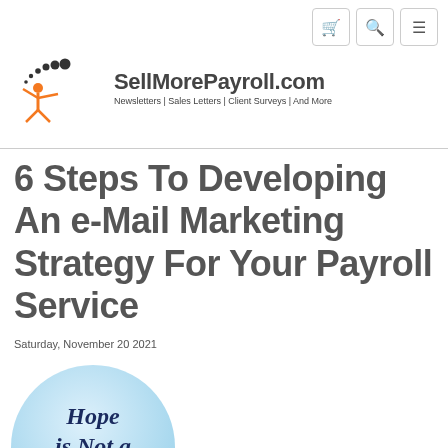SellMorePayroll.com — Newsletters | Sales Letters | Client Surveys | And More
6 Steps To Developing An e-Mail Marketing Strategy For Your Payroll Service
Saturday, November 20 2021
[Figure (illustration): A light blue circular button/badge with the text 'Hope is Not a Strategy' in dark navy bold italic text]